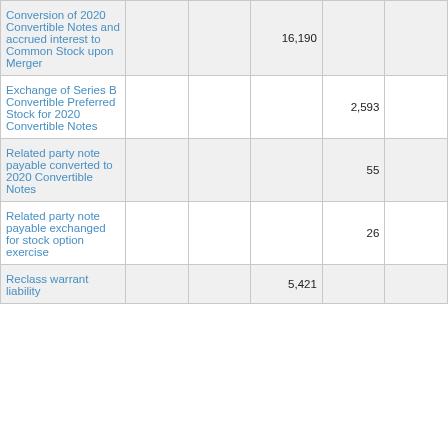| Conversion of 2020 Convertible Notes and accrued interest to Common Stock upon Merger |  |  | 16,190 |  |  |
| Exchange of Series B Convertible Preferred Stock for 2020 Convertible Notes |  |  |  | 2,593 |  |
| Related party note payable converted to 2020 Convertible Notes |  |  |  | 55 |  |
| Related party note payable exchanged for stock option exercise |  |  |  | 26 |  |
| Reclass warrant liability |  |  | 5,421 |  |  |